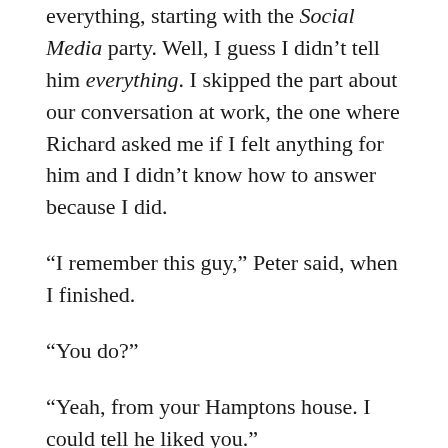everything, starting with the Social Media party. Well, I guess I didn't tell him everything. I skipped the part about our conversation at work, the one where Richard asked me if I felt anything for him and I didn't know how to answer because I did.
“I remember this guy,” Peter said, when I finished.
“You do?”
“Yeah, from your Hamptons house. I could tell he liked you.”
“I don’t think he likes me. I think he just wants to sleep with me and he isn’t used to girls who don’t